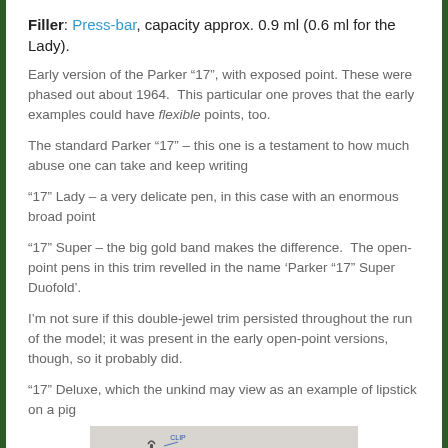Filler: Press-bar, capacity approx. 0.9 ml (0.6 ml for the Lady).
Early version of the Parker “17”, with exposed point. These were phased out about 1964.  This particular one proves that the early examples could have flexible points, too.
The standard Parker “17” – this one is a testament to how much abuse one can take and keep writing
“17” Lady – a very delicate pen, in this case with an enormous broad point
“17” Super – the big gold band makes the difference.  The open-point pens in this trim revelled in the name ‘Parker “17” Super Duofold’.
I’m not sure if this double-jewel trim persisted throughout the run of the model; it was present in the early open-point versions, though, so it probably did.
“17” Deluxe, which the unkind may view as an example of lipstick on a pig
[Figure (photo): Photo of a disassembled Parker 17 fountain pen showing clip, barrel and nib components on a light background, with labels 'CLIP', 'JEWEL', 'CAP' visible.]